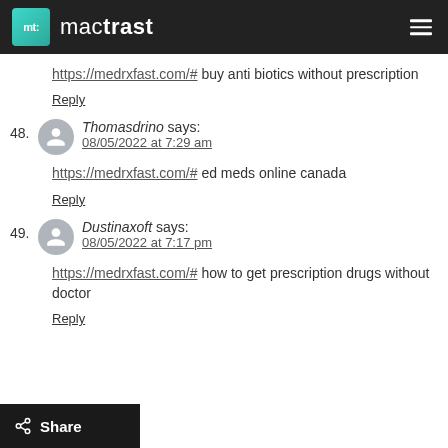mactrast
https://medrxfast.com/# buy anti biotics without prescription
Reply
48. Thomasdrino says: 08/05/2022 at 7:29 am — https://medrxfast.com/# ed meds online canada
Reply
49. Dustinaxoft says: 08/05/2022 at 7:17 pm — https://medrxfast.com/# how to get prescription drugs without doctor
Reply
Share